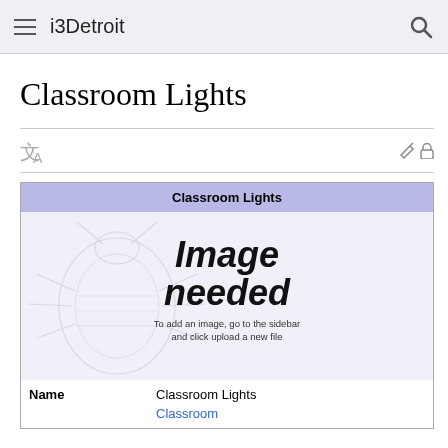i3Detroit
Classroom Lights
| Classroom Lights |
| --- |
| [Image needed] |
| Name | Classroom Lights |
|  | Classroom |